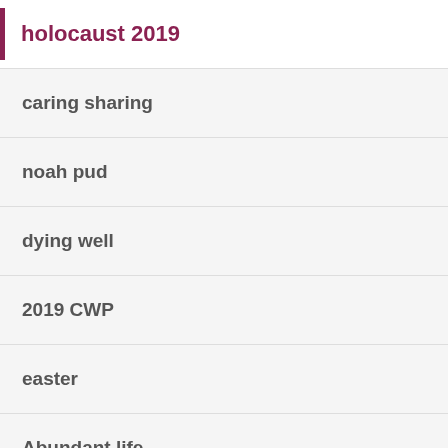holocaust 2019
caring sharing
noah pud
dying well
2019 CWP
easter
Abundant life
Consultation TFL
Help for Parents
Psychosis Workshop
iftar meal 2019
dying well in croydon